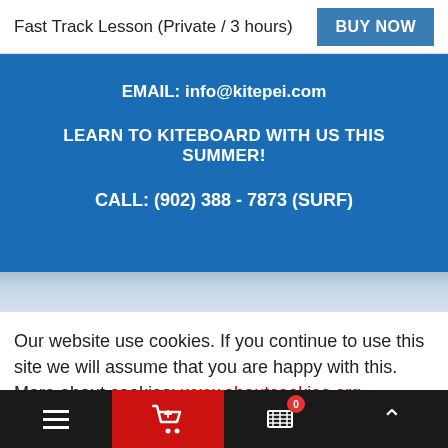Fast Track Lesson (Private / 3 hours)
BUY NOW
EMAIL: info@kitepei.com
LEARN TO KITEBOARD WITH US THIS SUMMER!
CALL: (902) 388 - 7873 (SURF)
Our website use cookies. If you continue to use this site we will assume that you are happy with this. More about cookies: www.aboutcookies.org